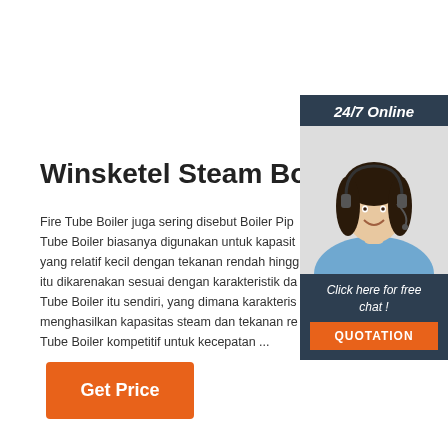[Figure (photo): Woman with headset smiling, customer support agent for 24/7 online chat]
24/7 Online
Click here for free chat !
QUOTATION
Winsketel Steam Boiler
Fire Tube Boiler juga sering disebut Boiler Pip Tube Boiler biasanya digunakan untuk kapasit yang relatif kecil dengan tekanan rendah hingg itu dikarenakan sesuai dengan karakteristik da Tube Boiler itu sendiri, yang dimana karakteris menghasilkan kapasitas steam dan tekanan re Tube Boiler kompetitif untuk kecepatan ...
Get Price